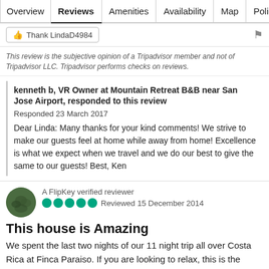Overview | Reviews | Amenities | Availability | Map | Policies
Thank LindaD4984
This review is the subjective opinion of a Tripadvisor member and not of Tripadvisor LLC. Tripadvisor performs checks on reviews.
kenneth b, VR Owner at Mountain Retreat B&B near San Jose Airport, responded to this review
Responded 23 March 2017
Dear Linda: Many thanks for your kind comments! We strive to make our guests feel at home while away from home! Excellence is what we expect when we travel and we do our best to give the same to our guests! Best, Ken
A FlipKey verified reviewer
Reviewed 15 December 2014
This house is Amazing
We spent the last two nights of our 11 night trip all over Costa Rica at Finca Paraiso. If you are looking to relax, this is the place to stay.... More